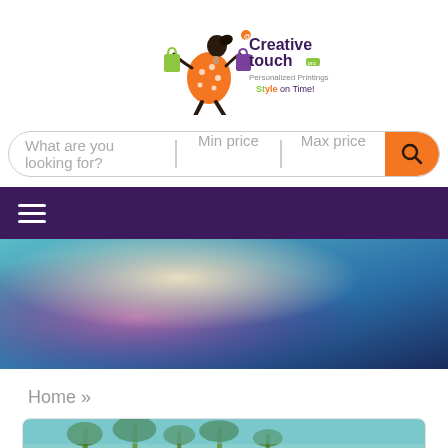[Figure (logo): Creative Touch logo with stylized woman figure carrying shopping bags, green and orange and purple colors, tagline 'Saving on Time!']
What are you looking for?  Min price  Max price
[Figure (infographic): Purple navigation bar with hamburger menu icon (three white horizontal lines)]
[Figure (photo): Hero banner image with gradient colors: purple, cream/beige, teal, and deep blue — appears to be a lifestyle/travel image with blurred/abstract appearance]
Home »
[Figure (photo): Partial view of a product card showing tropical foliage/palm trees at the bottom of the page]